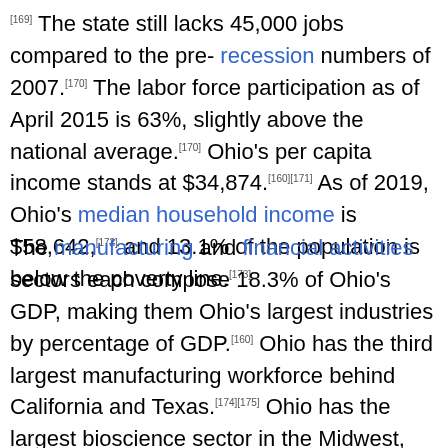[169] The state still lacks 45,000 jobs compared to the pre- recession numbers of 2007.[170] The labor force participation as of April 2015 is 63%, slightly above the national average.[170] Ohio's per capita income stands at $34,874.[160][171] As of 2019, Ohio's median household income is $58,642,[172] and 13.1% of the population is below the poverty line.[173]
The manufacturing and financial activities sectors each compose 18.3% of Ohio's GDP, making them Ohio's largest industries by percentage of GDP.[160] Ohio has the third largest manufacturing workforce behind California and Texas.[174][175] Ohio has the largest bioscience sector in the Midwest, and is a national leader in the "green" economy. Ohio is the largest producer in the country of plastics, rubber, fabricated metals, electrical